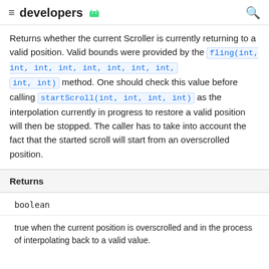≡ developers 🤖 🔍
Returns whether the current Scroller is currently returning to a valid position. Valid bounds were provided by the fling(int, int, int, int, int, int, int, int, int, int) method. One should check this value before calling startScroll(int, int, int, int) as the interpolation currently in progress to restore a valid position will then be stopped. The caller has to take into account the fact that the started scroll will start from an overscrolled position.
| Returns |
| --- |
| boolean |
| true when the current position is overscrolled and in the process of interpolating back to a valid value. |